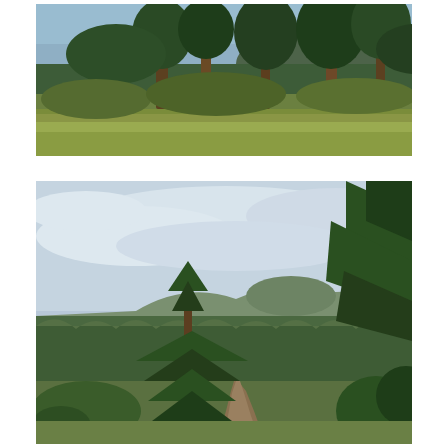[Figure (photo): Photograph of a forested area with tall pine and deciduous trees, grassy undergrowth in the foreground, and a partly cloudy sky visible through the canopy. Mountains visible in background distance.]
[Figure (photo): Photograph of a mountain landscape vista taken from a high vantage point. Foreground shows pine trees including a prominent single pine tree on the left and dense pine branches on the right. A dirt trail winds through the lower portion. Middle ground and background show an expansive forested valley with mountain ridges under a partly cloudy sky.]